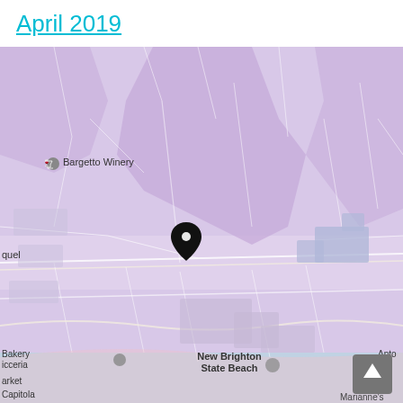April 2019
[Figure (map): Google Maps screenshot showing an area near Capitola, California, featuring landmarks including Bargetto Winery, Cabrillo College, The Farm Cafe & Gi[ll], Twin Lakes Church, New Brighton State Beach, and Marianne's. A black location pin is placed near the center of the map. The map has a purple/lavender color overlay. Visible place names: Bargetto Winery, Cabrillo College, The Farm Cafe & Gi, Twin Lakes Church, New Brighton State Beach, Aptos, Bakery, Picceria, Market, Capitola, Marianne's. A scroll-to-top button appears in the lower right corner.]